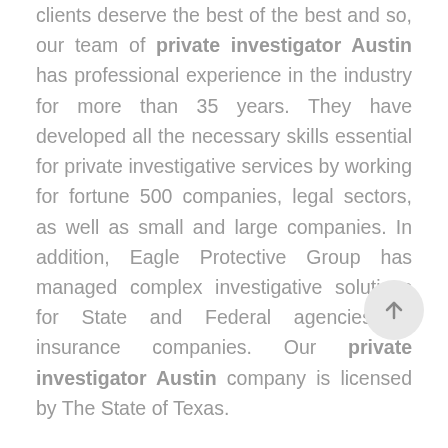clients deserve the best of the best and so, our team of private investigator Austin has professional experience in the industry for more than 35 years. They have developed all the necessary skills essential for private investigative services by working for fortune 500 companies, legal sectors, as well as small and large companies. In addition, Eagle Protective Group has managed complex investigative solutions for State and Federal agencies or insurance companies. Our private investigator Austin company is licensed by The State of Texas.

You deserve to know the truth and our trusted private investigator Houston at Eagle Protective Group will help you do